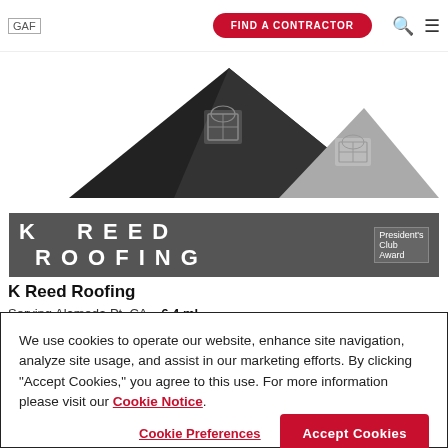[Figure (logo): GAF logo text in top left header]
[Figure (logo): K Reed Roofing company logo with rooftop silhouette graphic and company name in large spaced letters on grey bar with President's Club Award badge]
K Reed Roofing
Serving Alameda Pt, CA   6.4 ml
5.0 ★★★★★ (5)
We use cookies to operate our website, enhance site navigation, analyze site usage, and assist in our marketing efforts. By clicking "Accept Cookies," you agree to this use. For more information please visit our Cookie Notice.
Cookie Preferences
Accept Cookies